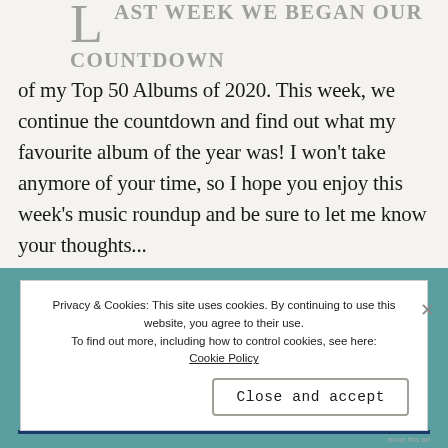LAST WEEK WE BEGAN OUR COUNTDOWN of my Top 50 Albums of 2020. This week, we continue the countdown and find out what my favourite album of the year was! I won't take anymore of your time, so I hope you enjoy this week's music roundup and be sure to let me know your thoughts...
Privacy & Cookies: This site uses cookies. By continuing to use this website, you agree to their use. To find out more, including how to control cookies, see here: Cookie Policy
Close and accept